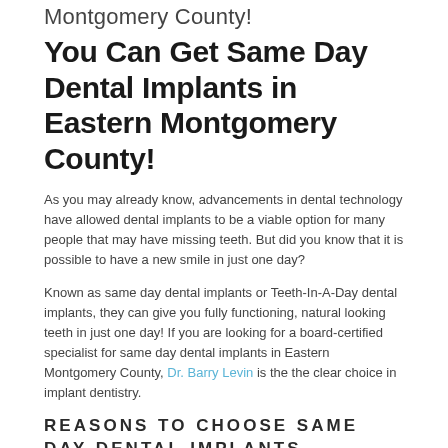Montgomery County!
You Can Get Same Day Dental Implants in Eastern Montgomery County!
As you may already know, advancements in dental technology have allowed dental implants to be a viable option for many people that may have missing teeth. But did you know that it is possible to have a new smile in just one day?
Known as same day dental implants or Teeth-In-A-Day dental implants, they can give you fully functioning, natural looking teeth in just one day! If you are looking for a board-certified specialist for same day dental implants in Eastern Montgomery County, Dr. Barry Levin is the the clear choice in implant dentistry.
Reasons to Choose Same Day Dental Implants
The name says it all...same day dental implants. What you can expect: